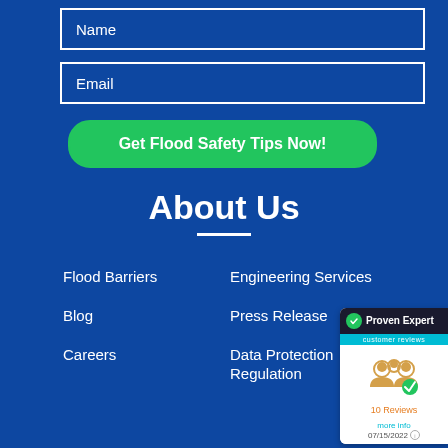Name
Email
Get Flood Safety Tips Now!
About Us
Flood Barriers
Engineering Services
Blog
Press Release
Careers
Data Protection Regulation
[Figure (other): Proven Expert customer reviews widget showing 10 Reviews badge dated 07/15/2022]